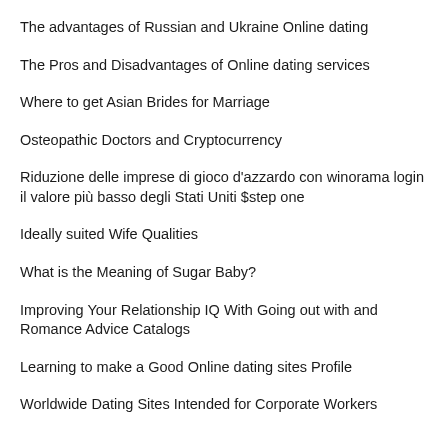The advantages of Russian and Ukraine Online dating
The Pros and Disadvantages of Online dating services
Where to get Asian Brides for Marriage
Osteopathic Doctors and Cryptocurrency
Riduzione delle imprese di gioco d'azzardo con winorama login il valore più basso degli Stati Uniti $step one
Ideally suited Wife Qualities
What is the Meaning of Sugar Baby?
Improving Your Relationship IQ With Going out with and Romance Advice Catalogs
Learning to make a Good Online dating sites Profile
Worldwide Dating Sites Intended for Corporate Workers